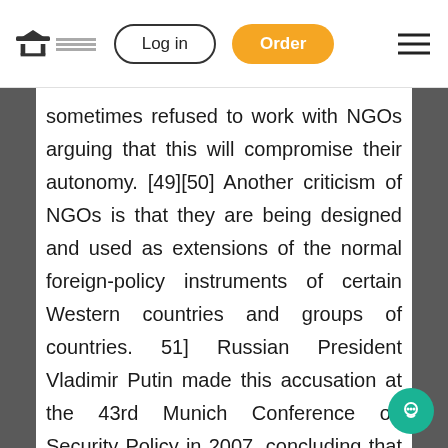Log in | Order
sometimes refused to work with NGOs arguing that this will compromise their autonomy. [49][50] Another criticism of NGOs is that they are being designed and used as extensions of the normal foreign-policy instruments of certain Western countries and groups of countries. 51] Russian President Vladimir Putin made this accusation at the 43rd Munich Conference on Security Policy in 2007, concluding that these NGOs “are formally independent but they are